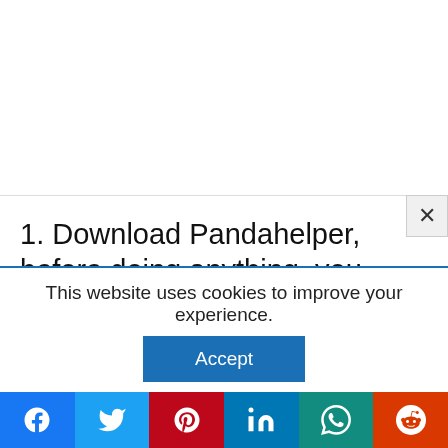[Figure (screenshot): White empty area at top of page (ad/image placeholder)]
1. Download Pandahelper, before doing anything, you need to download this app on your iOS device. It is a free app but isn't available on App Store.
This website uses cookies to improve your experience.
[Figure (other): Accept button for cookie consent]
[Figure (other): Social sharing bar with Facebook, Twitter, Pinterest, LinkedIn, WhatsApp, Reddit icons]